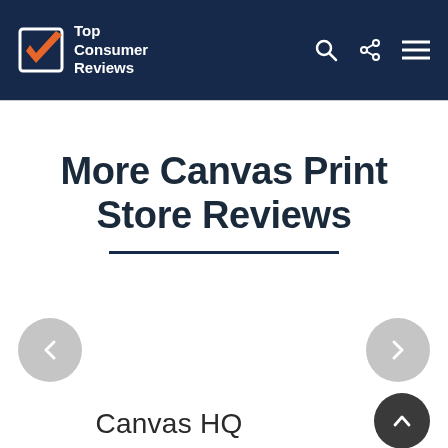Top Consumer Reviews
More Canvas Print Store Reviews
Canvas HQ